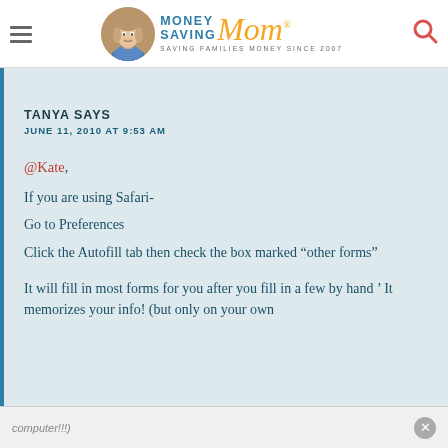[Figure (logo): Money Saving Mom logo with circular photo of woman, teal MONEY SAVING text, orange cursive Mom text, and tagline SAVING FAMILIES MONEY SINCE 2007]
TANYA SAYS
JUNE 11, 2010 AT 9:53 AM
@Kate,
If you are using Safari-
Go to Preferences
Click the Autofill tab then check the box marked “other forms”

It will fill in most forms for you after you fill in a few by hand ’ It memorizes your info! (but only on your own computer!!!)